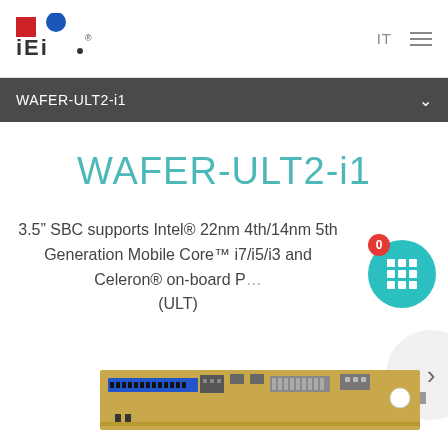[Figure (logo): IEI logo with red square, blue circle, and stylized text]
IT  ≡
WAFER-ULT2-i1
WAFER-ULT2-i1
3.5" SBC supports Intel® 22nm 4th/14nm 5th Generation Mobile Core™ i7/i5/i3 and Celeron® on-board P... (ULT)
[Figure (photo): PCB board photograph of WAFER-ULT2-i1 single board computer showing connectors and components]